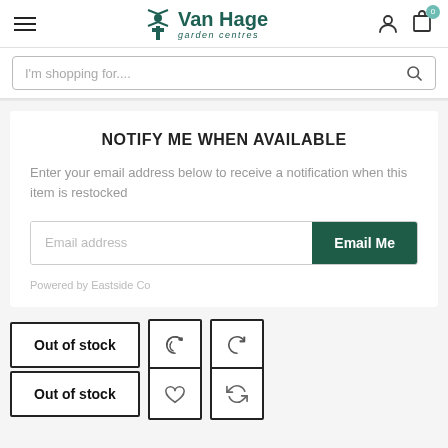[Figure (logo): Van Hage garden centres logo with windmill icon]
I'm shopping for....
NOTIFY ME WHEN AVAILABLE
Enter your email address below to receive a notification when this item is restocked
Email address
Email Me
Powered by Eastside Co
Out of stock